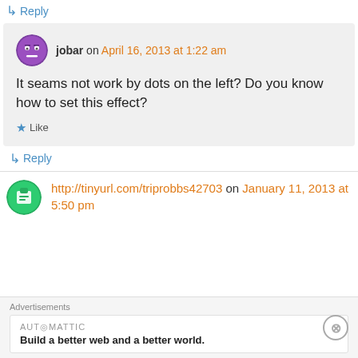↳ Reply
jobar on April 16, 2013 at 1:22 am
It seams not work by dots on the left? Do you know how to set this effect?
★ Like
↳ Reply
http://tinyurl.com/triprobbs42703 on January 11, 2013 at 5:50 pm
Advertisements
AUTOMATTIC
Build a better web and a better world.